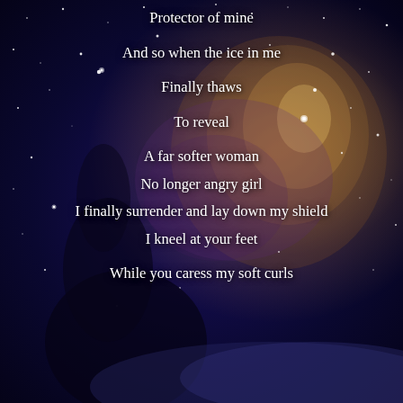[Figure (photo): A woman sitting on a bed gazing upward at a vast starry night sky with a glowing nebula, serving as the background for poem text.]
Protector of mine

And so when the ice in me

Finally thaws

To reveal

A far softer woman

No longer angry girl

I finally surrender and lay down my shield

I kneel at your feet

While you caress my soft curls